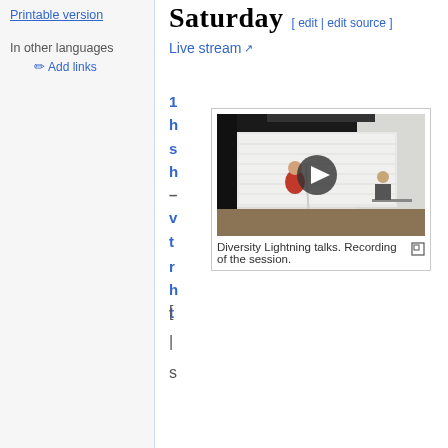Printable version
In other languages
✏ Add links
Saturday [ edit | edit source ]
Live stream
[Figure (photo): Video thumbnail showing a person in a red outfit at a conference room with a projection screen and a play button overlay]
Diversity Lightning talks. Recording of the session.